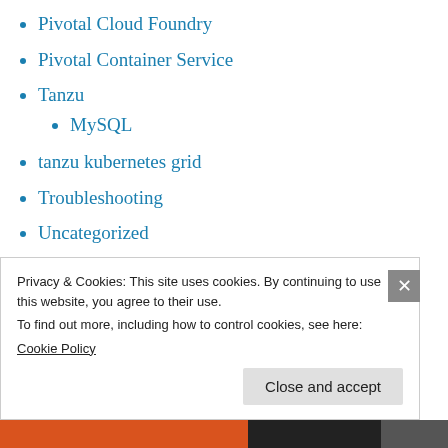Pivotal Cloud Foundry
Pivotal Container Service
Tanzu
MySQL
tanzu kubernetes grid
Troubleshooting
Uncategorized
VCAP-CIA
vCenter Log Insight
vCenter Orchestrator
vCenter Site Recovery Manager
Privacy & Cookies: This site uses cookies. By continuing to use this website, you agree to their use.
To find out more, including how to control cookies, see here:
Cookie Policy
Close and accept